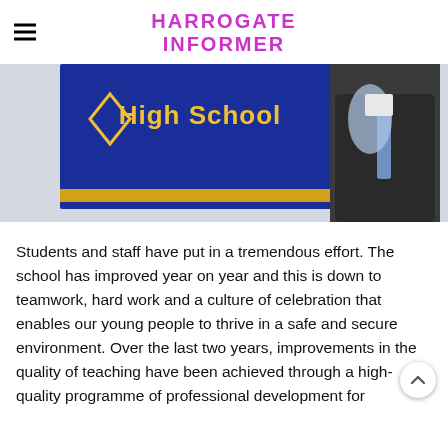HARROGATE INFORMER
[Figure (photo): Partial photo showing a blue and gold High School banner/sign on a wall, with a person in a dark suit and tie standing beside it, cropped at the top]
Students and staff have put in a tremendous effort. The school has improved year on year and this is down to teamwork, hard work and a culture of celebration that enables our young people to thrive in a safe and secure environment. Over the last two years, improvements in the quality of teaching have been achieved through a high-quality programme of professional development for